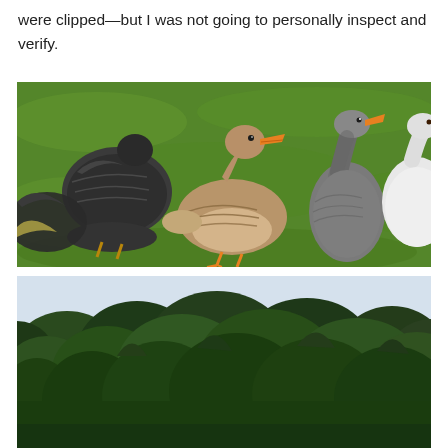were clipped—but I was not going to personally inspect and verify.
[Figure (photo): Group of geese and ducks standing on green grass. Center foreground shows a tan/brown goose with orange beak facing right. To the left are darker grey-brown birds. Upper right shows two grey geese with orange beaks, and a white goose partially visible at far right. Bright green grass background.]
[Figure (photo): Landscape photo showing dense green forest of trees with dark foliage against a light sky. Trees fill most of the frame.]